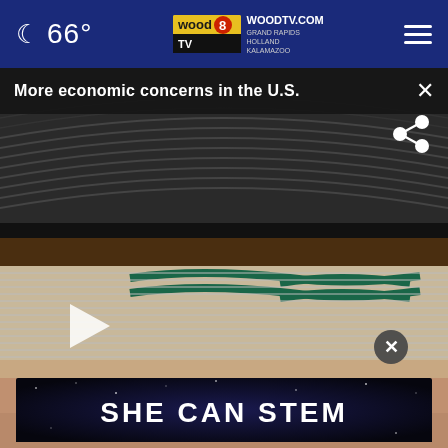🌙 66° | WOODTV.COM GRAND RAPIDS HOLLAND KALAMAZOO
More economic concerns in the U.S.
[Figure (screenshot): Close-up video thumbnail showing coiled wire/cable with green markings, with a play button overlay. Below is a partial face/skin image with an advertisement overlay reading 'SHE CAN STEM' in bold white text on a dark blue starfield background.]